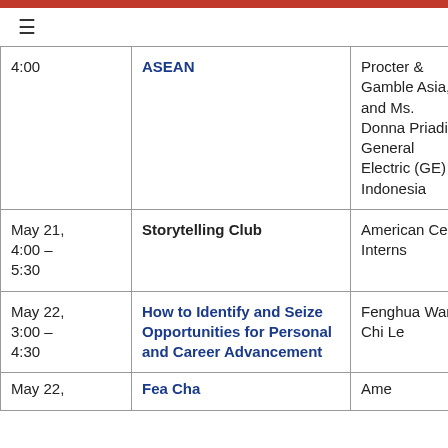| Date/Time | Event | Speaker/Host |
| --- | --- | --- |
| 4:00 | ASEAN | Procter & Gamble Asia, and Ms. Donna Priadi, General Electric (GE) Indonesia |
| May 21, 4:00 – 5:30 | Storytelling Club | American Center Interns |
| May 22, 3:00 – 4:30 | How to Identify and Seize Opportunities for Personal and Career Advancement | Fenghua Wang and Chi Le |
| May 22, | ... | ... |